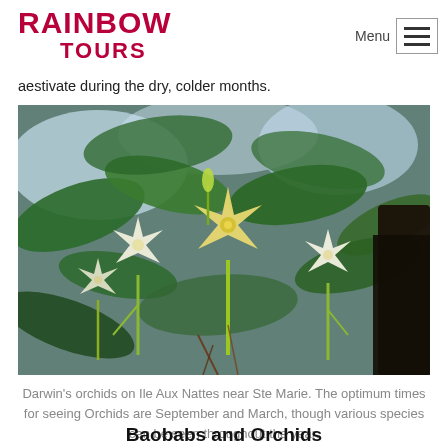RAINBOW TOURS
aestivate during the dry, colder months.
[Figure (photo): Darwin's orchids with white and yellow star-shaped flowers growing on stems amid large green leaves, with a dark tree trunk visible on the right and blue sky in the background. Photographed on Ile Aux Nattes near Ste Marie.]
Darwin's orchids on Ile Aux Nattes near Ste Marie. The optimum times for seeing Orchids are September and March, though various species can be seen throughout the year.
Baobabs and Orchids